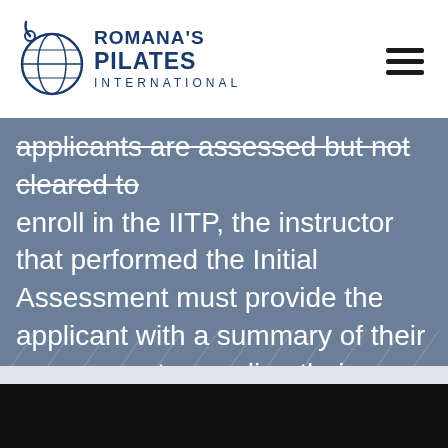Romana's Pilates International
applicants are assessed but not cleared to enroll in the IITP, the instructor that performed the Initial Assessment must provide the applicant with a summary of their assessment regarding their current level of competency and ability, as well as what activities will need to be completed before the applicant can be re-assessed for enrollment.